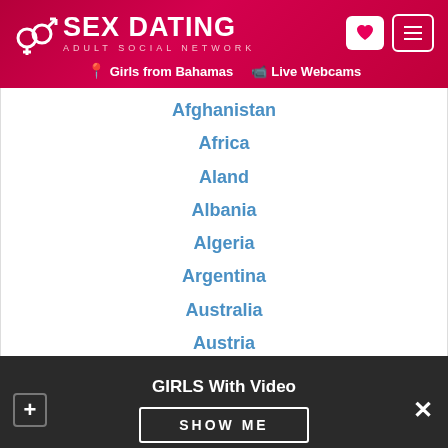SEX DATING ADULT SOCIAL NETWORK
Girls from Bahamas | Live Webcams
Afghanistan
Africa
Aland
Albania
Algeria
Argentina
Australia
Austria
Bahamas
Bahrain
Bangladesh
Belgium
Belize
GIRLS With Video
SHOW ME